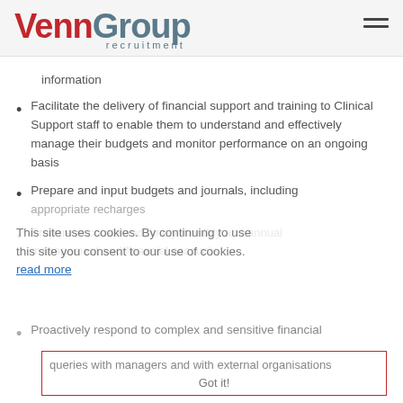VennGroup recruitment
information
Facilitate the delivery of financial support and training to Clinical Support staff to enable them to understand and effectively manage their budgets and monitor performance on an ongoing basis
Prepare and input budgets and journals, including appropriate recharges
Prepare accurate and timely monthly and annual management and financial accounts
This site uses cookies. By continuing to use this site you consent to our use of cookies. read more
Proactively respond to complex and sensitive financial queries with managers and with external organisations
Got it!
Assist with the development of the General Ledger and supporting the resolution of operational